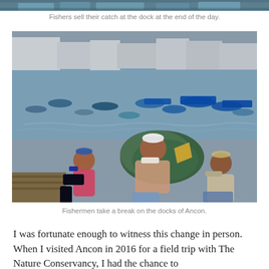[Figure (photo): Partial top strip of a photo showing fishers at a dock]
Fishers sell their catch at the dock at the end of the day.
[Figure (photo): Three fishermen sitting and resting on the docks of Ancon with fishing nets piled behind them and many boats in the harbor in the background]
Fishermen take a break on the docks of Ancon.
I was fortunate enough to witness this change in person. When I visited Ancon in 2016 for a field trip with The Nature Conservancy, I had the chance to